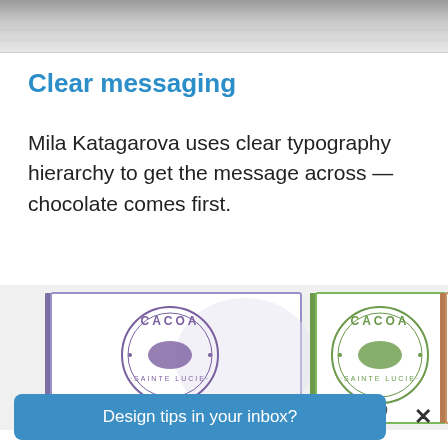[Figure (photo): Partial view of a textured surface, likely the top of a chocolate bar packaging, shown cropped at the top of the page.]
Clear messaging
Mila Katagarova uses clear typography hierarchy to get the message across — chocolate comes first.
[Figure (photo): Three CACOA SAINTE LUCIE chocolate bar packages shown side by side, with purple, green, and brown/tan color schemes respectively. Each displays a circular logo with a cocoa pod illustration.]
Design tips in your inbox?